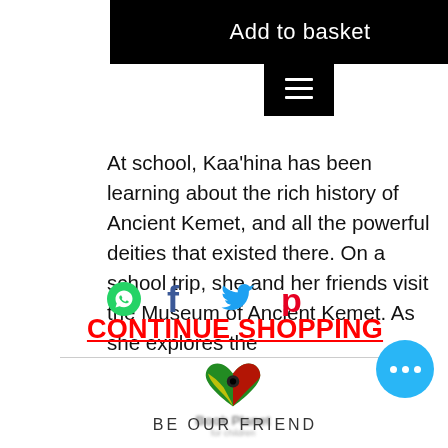Add to basket
At school, Kaa'hina has been learning about the rich history of Ancient Kemet, and all the powerful deities that existed there. On a school trip, she and her friends visit the Museum of Ancient Kemet. As she explores the
[Figure (infographic): Social share icons row: WhatsApp (green circle), Facebook (f), Twitter bird, Pinterest (P)]
CONTINUE SHOPPING
[Figure (logo): Book Planet logo: colorful heart shape with red, yellow, green colors and blurred 'Book Planet' text below]
BE OUR FRIEND